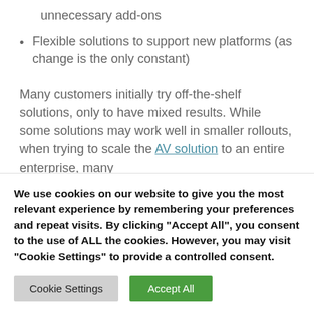unnecessary add-ons
Flexible solutions to support new platforms (as change is the only constant)
Many customers initially try off-the-shelf solutions, only to have mixed results. While some solutions may work well in smaller rollouts, when trying to scale the AV solution to an entire enterprise, many
We use cookies on our website to give you the most relevant experience by remembering your preferences and repeat visits. By clicking "Accept All", you consent to the use of ALL the cookies. However, you may visit "Cookie Settings" to provide a controlled consent.